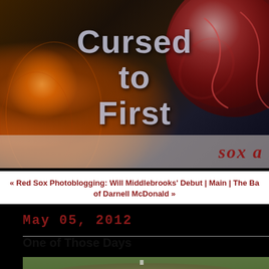[Figure (photo): Blog header banner image showing a close-up of a dark baseball with red stitching on a dark background. Large text overlay reads 'Cursed to First' in gray, with a translucent bar at the bottom showing 'sox a' in dark red italic text.]
« Red Sox Photoblogging: Will Middlebrooks' Debut | Main | The Ba of Darnell McDonald »
May  05, 2012
One of Those Days
[Figure (photo): Partial view of a baseball field showing green grass and dirt infield.]